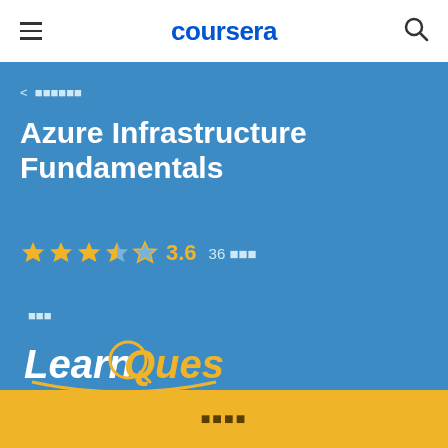coursera
< ??????
Azure Infrastructure Fundamentals
★★★½★ 3.6  36 ???
???
[Figure (logo): LearnQuest logo in white and gold on blue background]
????